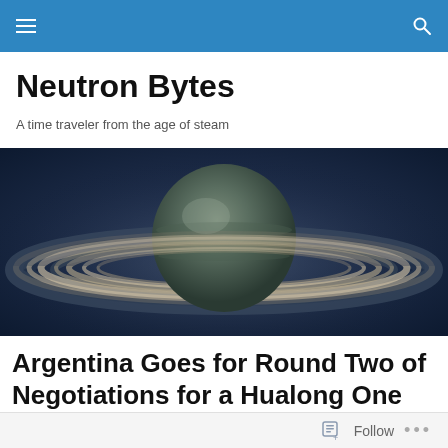Neutron Bytes — navigation bar
Neutron Bytes
A time traveler from the age of steam
[Figure (photo): Hero image of Saturn with its rings viewed from slightly above, set against a dark blue-grey space background with subtle ring shadow patterns.]
Argentina Goes for Round Two of Negotiations for a Hualong One
Follow ...